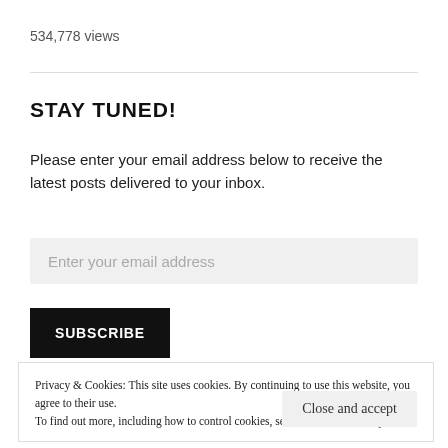534,778 views
STAY TUNED!
Please enter your email address below to receive the latest posts delivered to your inbox.
Enter your email address
SUBSCRIBE
Privacy & Cookies: This site uses cookies. By continuing to use this website, you agree to their use.
To find out more, including how to control cookies, see here: Cookie Policy
Close and accept